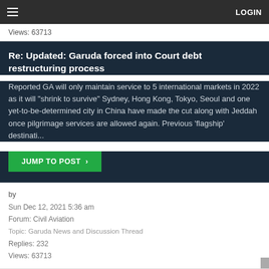≡   LOGIN
Views: 63713
Re: Updated: Garuda forced into Court debt restructuring process
Reported GA will only maintain service to 5 international markets in 2022 as it will "shrink to survive" Sydney, Hong Kong, Tokyo, Seoul and one yet-to-be-determined city in China have made the cut along with Jeddah once pilgrimage services are allowed again. Previous 'flagship' destinati...
JUMP TO POST ›
by
Sun Dec 12, 2021 5:36 am
Forum: Civil Aviation
Topic: Garuda News and Discussion Thread
Replies: 232
Views: 63713
Re: Updated: Garuda forced into Court debt restructuring process
^ I think they would just pump more money into the airlines. They probably put pressure on the creditors so they could minimize the